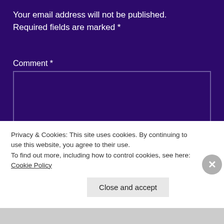Your email address will not be published. Required fields are marked *
Comment *
[Figure (screenshot): Empty comment text area input box with dark purple background and subtle border]
Privacy & Cookies: This site uses cookies. By continuing to use this website, you agree to their use.
To find out more, including how to control cookies, see here: Cookie Policy
Close and accept